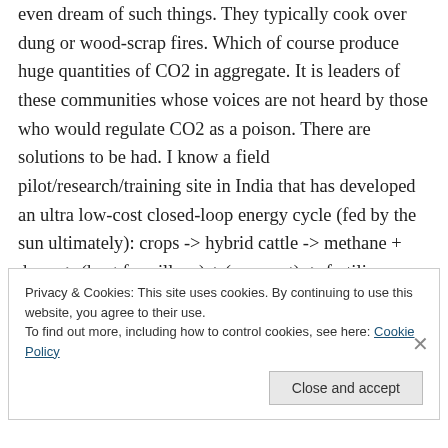even dream of such things. They typically cook over dung or wood-scrap fires. Which of course produce huge quantities of CO2 in aggregate. It is leaders of these communities whose voices are not heard by those who would regulate CO2 as a poison. There are solutions to be had. I know a field pilot/research/training site in India that has developed an ultra low-cost closed-loop energy cycle (fed by the sun ultimately): crops -> hybrid cattle -> methane + dung -> (heat for village) + (compost) -> fertilize crops -> …
Privacy & Cookies: This site uses cookies. By continuing to use this website, you agree to their use.
To find out more, including how to control cookies, see here: Cookie Policy